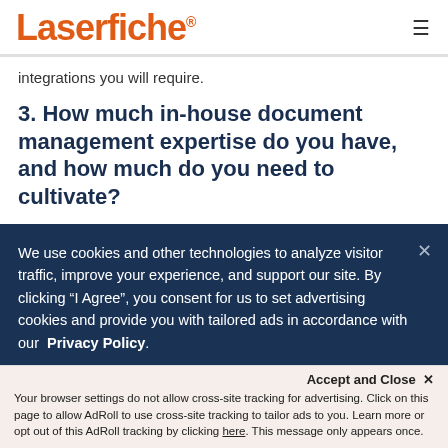Laserfiche
integrations you will require.
3. How much in-house document management expertise do you have, and how much do you need to cultivate?
We use cookies and other technologies to analyze visitor traffic, improve your experience, and support our site. By clicking “I Agree”, you consent for us to set advertising cookies and provide you with tailored ads in accordance with our Privacy Policy.
Accept and Close ×
Your browser settings do not allow cross-site tracking for advertising. Click on this page to allow AdRoll to use cross-site tracking to tailor ads to you. Learn more or opt out of this AdRoll tracking by clicking here. This message only appears once.